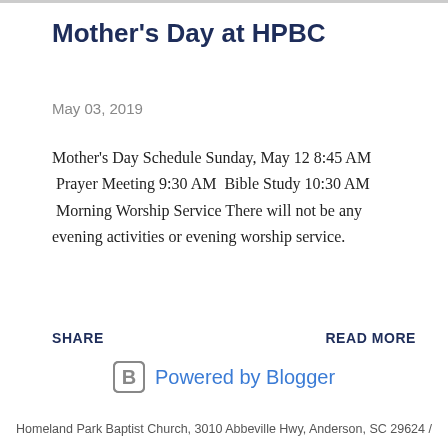Mother's Day at HPBC
May 03, 2019
Mother's Day Schedule Sunday, May 12 8:45 AM  Prayer Meeting 9:30 AM  Bible Study 10:30 AM  Morning Worship Service There will not be any evening activities or evening worship service.
SHARE
READ MORE
[Figure (logo): Powered by Blogger logo with Blogger 'B' icon]
Homeland Park Baptist Church, 3010 Abbeville Hwy, Anderson, SC 29624 /